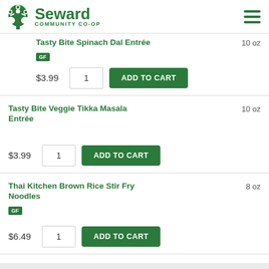[Figure (logo): Seward Community Co-op logo with green tree icon and text]
Tasty Bite Spinach Dal Entrée — GF — 10 oz — $3.99 — ADD TO CART
Tasty Bite Veggie Tikka Masala Entrée — 10 oz — $3.99 — ADD TO CART
Thai Kitchen Brown Rice Stir Fry Noodles — GF — 8 oz — $6.49 — ADD TO CART